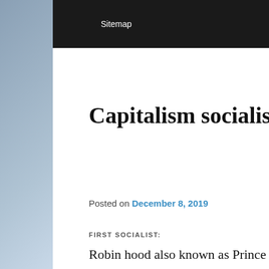Sitemap
← Previous   Next →
Capitalism socialism and joint family
Posted on December 8, 2019
FIRST SOCIALIST:
Robin hood also known as Prince of thieves was it classic socialist. Robin would rob rich to distribute among